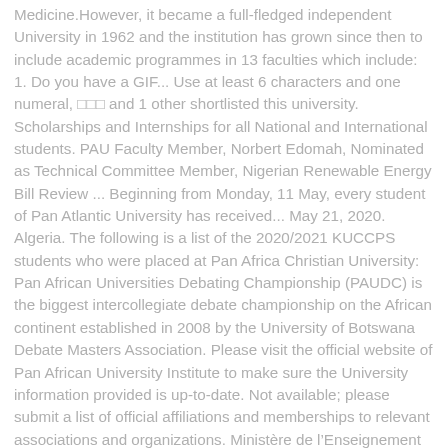Medicine.However, it became a full-fledged independent University in 1962 and the institution has grown since then to include academic programmes in 13 faculties which include: 1. Do you have a GIF... Use at least 6 characters and one numeral, □□□ and 1 other shortlisted this university. Scholarships and Internships for all National and International students. PAU Faculty Member, Norbert Edomah, Nominated as Technical Committee Member, Nigerian Renewable Energy Bill Review ... Beginning from Monday, 11 May, every student of Pan Atlantic University has received... May 21, 2020. Algeria. The following is a list of the 2020/2021 KUCCPS students who were placed at Pan Africa Christian University: Pan African Universities Debating Championship (PAUDC) is the biggest intercollegiate debate championship on the African continent established in 2008 by the University of Botswana Debate Masters Association. Please visit the official website of Pan African University Institute to make sure the University information provided is up-to-date. Not available; please submit a list of official affiliations and memberships to relevant associations and organizations. Ministère de l'Enseignement Supérieur et de la Recherche Scientifique, Benin. Tip: search for Pan African University Institute's accreditations with the uniRank Search Engine. 18. world rank. Not available; please submit a list of official